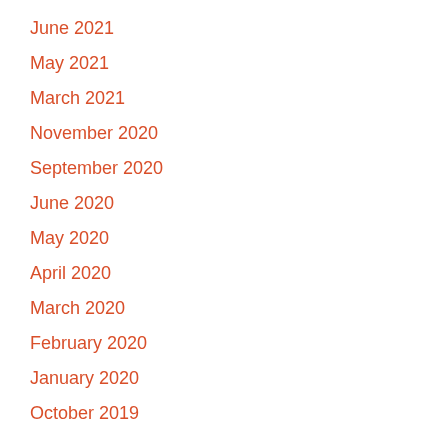June 2021
May 2021
March 2021
November 2020
September 2020
June 2020
May 2020
April 2020
March 2020
February 2020
January 2020
October 2019